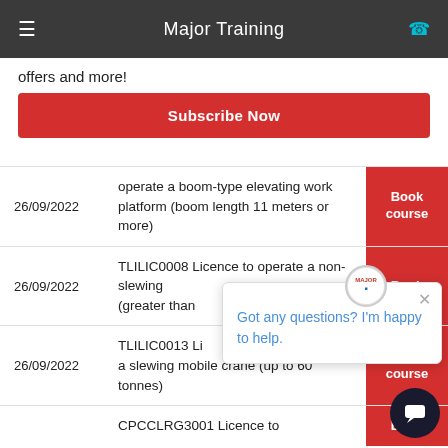Major Training
offers and more!
Subscribe Now
26/09/2022 — operate a boom-type elevating work platform (boom length 11 meters or more) — Book course
26/09/2022 — TLILIC0008 Licence to operate a non-slewing (greater than — Book
26/09/2022 — TLILIC0013 Li a slewing mobile crane (up to 60 tonnes) — Book course
CPCCLRG3001 Licence to — Book
Got any questions? I'm happy to help.